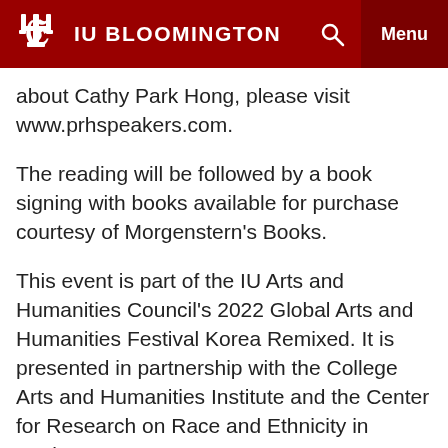IU BLOOMINGTON
about Cathy Park Hong, please visit www.prhspeakers.com.
The reading will be followed by a book signing with books available for purchase courtesy of Morgenstern's Books.
This event is part of the IU Arts and Humanities Council's 2022 Global Arts and Humanities Festival Korea Remixed. It is presented in partnership with the College Arts and Humanities Institute and the Center for Research on Race and Ethnicity in Society.
Doors open at 6pm for general admission event. The estimated length of the show is 2 hours. Wearing a mask is required indoors in Monroe County. Vaccine verification or negative covid test results within 48 hours